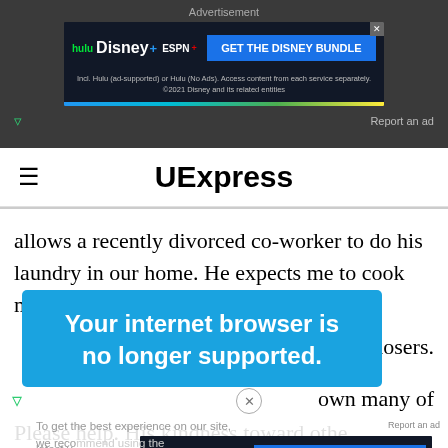[Figure (screenshot): Disney Bundle advertisement banner with Hulu, Disney+, ESPN+ logos and 'GET THE DISNEY BUNDLE' CTA button on dark background]
Advertisement
Report an ad
UExpress
allows a recently divorced co-worker to do his laundry in our home. He expects me to cook meals for people
[Figure (screenshot): Blue overlay popup saying 'Your internet browser is no longer supported.']
ds and losers.
own many of
To get the best experience on our site, we reco... latest v...
Report an ad
[Figure (screenshot): Second Disney Bundle advertisement banner with Hulu, Disney+, ESPN+ logos]
Please help. His kindness toward other is admirin...